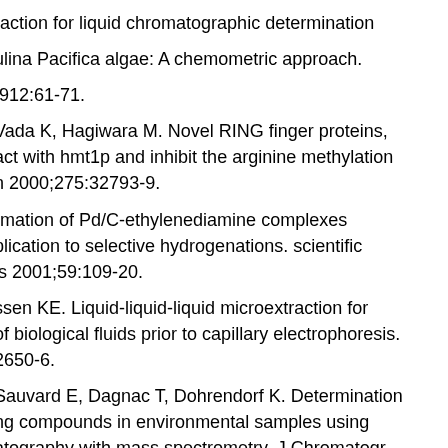raction for liquid chromatographic determination
ulina Pacifica algae: A chemometric approach.
;912:61-71.
Vada K, Hagiwara M. Novel RING finger proteins, act with hmt1p and inhibit the arginine methylation n 2000;275:32793-9.
rmation of Pd/C-ethylenediamine complexes plication to selective hydrogenations. scientific is 2001;59:109-20.
ssen KE. Liquid-liquid-liquid microextraction for of biological fluids prior to capillary electrophoresis. 2650-6.
Sauvard E, Dagnac T, Dohrendorf K. Determination ng compounds in environmental samples using atography with mass spectrometry. J Chromatogr